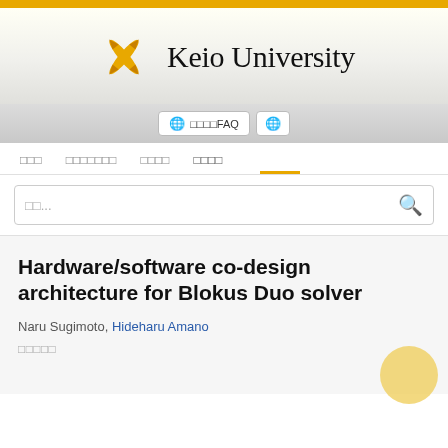[Figure (logo): Keio University logo: golden crossed quill pens with 'Keio University' text in serif font]
🌐 □□□□FAQ  🌐
□□□  □□□□□□□  □□□□  □□□□
□□...
Hardware/software co-design architecture for Blokus Duo solver
Naru Sugimoto, Hideharu Amano
□□□□□